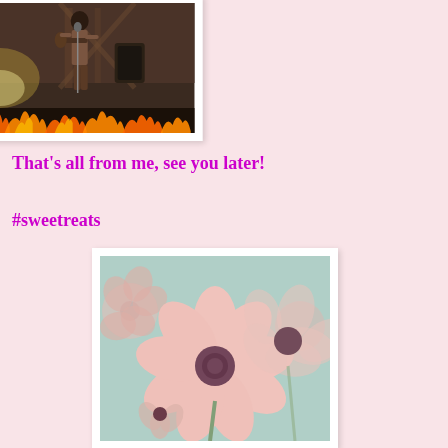[Figure (photo): Concert photo showing a performer on stage with flames at the bottom, dramatic lighting, and music equipment in background]
That's all from me, see you later!
#sweetreats
[Figure (photo): Close-up photo of soft pink flowers (possibly cosmos or dahlias) against a light teal/blue sky background, shallow depth of field, dreamy aesthetic]